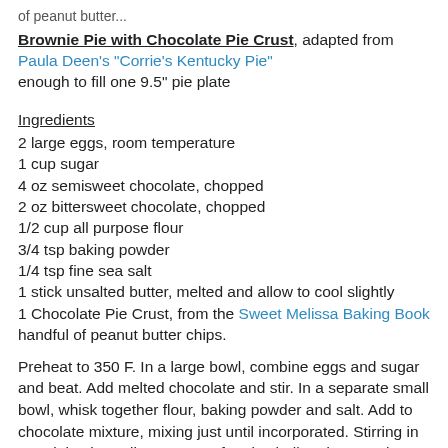of peanut butter...
Brownie Pie with Chocolate Pie Crust, adapted from Paula Deen's "Corrie's Kentucky Pie"
enough to fill one 9.5" pie plate
Ingredients
2 large eggs, room temperature
1 cup sugar
4 oz semisweet chocolate, chopped
2 oz bittersweet chocolate, chopped
1/2 cup all purpose flour
3/4 tsp baking powder
1/4 tsp fine sea salt
1 stick unsalted butter, melted and allow to cool slightly
1 Chocolate Pie Crust, from the Sweet Melissa Baking Book
handful of peanut butter chips.
Preheat to 350 F. In a large bowl, combine eggs and sugar and beat. Add melted chocolate and stir. In a separate small bowl, whisk together flour, baking powder and salt. Add to chocolate mixture, mixing just until incorporated. Stirring in remaining ingredients except for pie shell and peanut butter